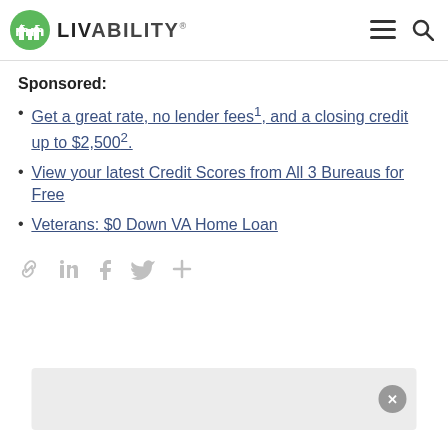LIVABILITY
Sponsored:
Get a great rate, no lender fees1, and a closing credit up to $2,5002.
View your latest Credit Scores from All 3 Bureaus for Free
Veterans: $0 Down VA Home Loan
[Figure (other): Social sharing icons row: link, LinkedIn, Facebook, Twitter, plus]
[Figure (other): Advertisement banner area with close button (X)]